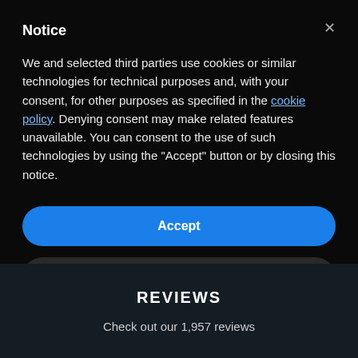Notice
We and selected third parties use cookies or similar technologies for technical purposes and, with your consent, for other purposes as specified in the cookie policy. Denying consent may make related features unavailable. You can consent to the use of such technologies by using the "Accept" button or by closing this notice.
Accept
Learn more and customize
REVIEWS
Check out our 1,957 reviews